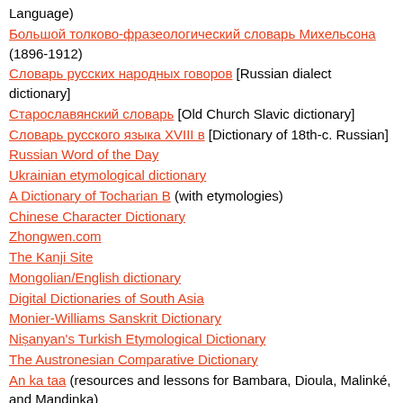Language)
Большой толково-фразеологический словарь Михельсона (1896-1912)
Словарь русских народных говоров [Russian dialect dictionary]
Старославянский словарь [Old Church Slavic dictionary]
Словарь русского языка XVIII в [Dictionary of 18th-c. Russian]
Russian Word of the Day
Ukrainian etymological dictionary
A Dictionary of Tocharian B (with etymologies)
Chinese Character Dictionary
Zhongwen.com
The Kanji Site
Mongolian/English dictionary
Digital Dictionaries of South Asia
Monier-Williams Sanskrit Dictionary
Nișanyan's Turkish Etymological Dictionary
The Austronesian Comparative Dictionary
An ka taa (resources and lessons for Bambara, Dioula, Malinké, and Mandinka)
Movies listed by language at IMDB
Languages online